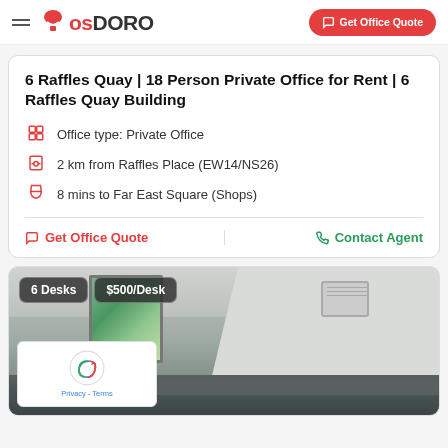CosDORO – Get Office Quote
6 Raffles Quay | 18 Person Private Office for Rent | 6 Raffles Quay Building
Office type: Private Office
2 km from Raffles Place (EW14/NS26)
8 mins to Far East Square (Shops)
Get Office Quote | Contact Agent
[Figure (photo): Interior photo of a private office room with ceiling AC unit, white walls, and window view. Tags show 6 Desks and $500/Desk.]